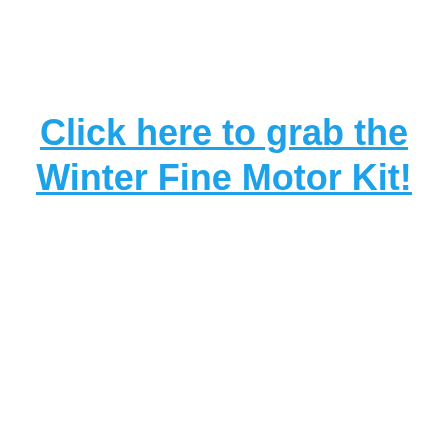Click here to grab the Winter Fine Motor Kit!